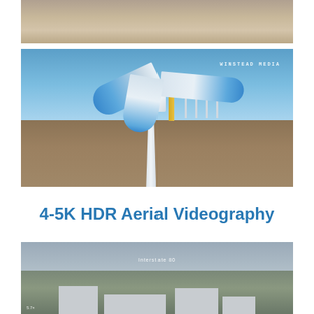[Figure (photo): Aerial close-up view of a circular agricultural field or textured brown surface from above]
[Figure (photo): Drone photo of a wind turbine nacelle and blades up close against a blue sky, with wind farm and flat agricultural landscape in the background. Watermark reads WINSTEAD MEDIA.]
4-5K HDR Aerial Videography
[Figure (photo): Aerial drone shot of industrial or commercial buildings near Interstate 80, with fields and overcast sky visible]